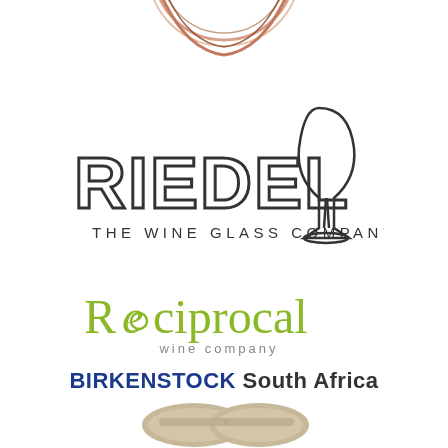[Figure (logo): Partial circular award badge with copper/rose-gold swirl lines and text 'AWARD' at the top]
[Figure (logo): Riedel - The Wine Glass Company logo with stylized block letters and wine glass illustration]
[Figure (logo): Reciprocal wine company logo in green text with decorative 'e' and 'wine company' subtitle]
BIRKENSTOCK South Africa
[Figure (photo): Partial view of Birkenstock sandals in beige/tan color, showing the top portion]